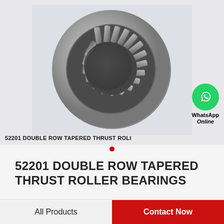[Figure (photo): 52201 Double Row Tapered Thrust Roller Bearing product photo showing circular bearing with tapered rollers visible from top-down perspective, metallic grey color on light blue-grey background]
52201 DOUBLE ROW TAPERED THRUST ROLI
[Figure (logo): WhatsApp green circle logo icon with phone handset symbol, labeled 'WhatsApp Online']
52201 DOUBLE ROW TAPERED THRUST ROLLER BEARINGS
All Products | Contact Now